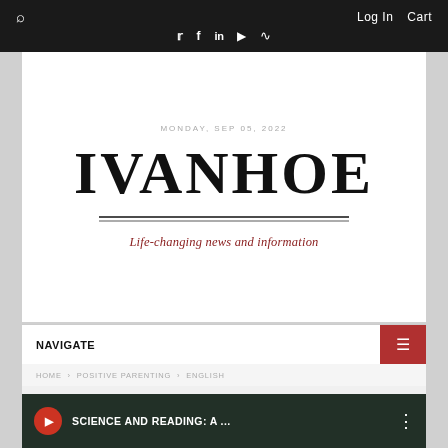Log In  Cart  (social icons: Twitter, Facebook, LinkedIn, YouTube, RSS)  Search
MONDAY, SEP 05, 2022
IVANHOE
Life-changing news and information
NAVIGATE
HOME > POSITIVE PARENTING > ENGLISH
[Figure (screenshot): Video thumbnail showing a dark background with a red play button circle, text reading SCIENCE AND READING: A ... and a vertical dots menu icon]